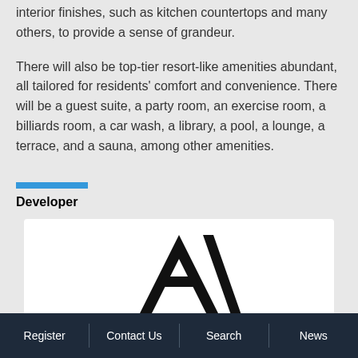interior finishes, such as kitchen countertops and many others, to provide a sense of grandeur.
There will also be top-tier resort-like amenities abundant, all tailored for residents' comfort and convenience. There will be a guest suite, a party room, an exercise room, a billiards room, a car wash, a library, a pool, a lounge, a terrace, and a sauna, among other amenities.
Developer
[Figure (logo): Developer logo — large stylized 'A' or similar lettermark in black on white background]
Register | Contact Us | Search | News